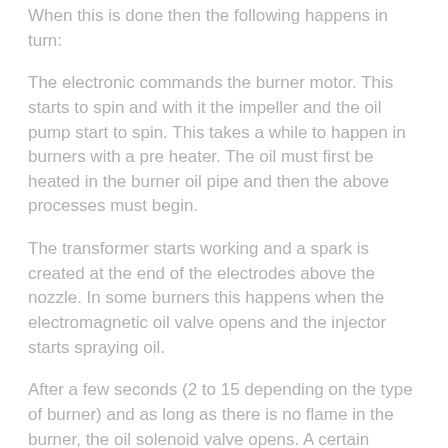When this is done then the following happens in turn:
The electronic commands the burner motor. This starts to spin and with it the impeller and the oil pump start to spin. This takes a while to happen in burners with a pre heater. The oil must first be heated in the burner oil pipe and then the above processes must begin.
The transformer starts working and a spark is created at the end of the electrodes above the nozzle. In some burners this happens when the electromagnetic oil valve opens and the injector starts spraying oil.
After a few seconds (2 to 15 depending on the type of burner) and as long as there is no flame in the burner, the oil solenoid valve opens. A certain amount of fuel is now pressed towards the injector). This is how the oil is sprayed and mixed with the air already provided by the impeller. This air-oil mixture is ignited by the electrode spark.